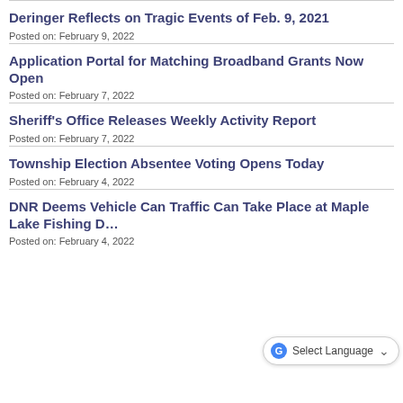Deringer Reflects on Tragic Events of Feb. 9, 2021
Posted on: February 9, 2022
Application Portal for Matching Broadband Grants Now Open
Posted on: February 7, 2022
Sheriff's Office Releases Weekly Activity Report
Posted on: February 7, 2022
Township Election Absentee Voting Opens Today
Posted on: February 4, 2022
DNR Deems Vehicle Can Traffic Can Take Place at Maple Lake Fishing D…
Posted on: February 4, 2022